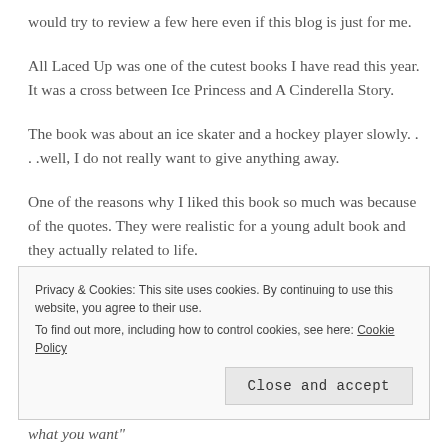would try to review a few here even if this blog is just for me.
All Laced Up was one of the cutest books I have read this year. It was a cross between Ice Princess and A Cinderella Story.
The book was about an ice skater and a hockey player slowly. . . .well, I do not really want to give anything away.
One of the reasons why I liked this book so much was because of the quotes. They were realistic for a young adult book and they actually related to life.
Privacy & Cookies: This site uses cookies. By continuing to use this website, you agree to their use. To find out more, including how to control cookies, see here: Cookie Policy
Close and accept
what you want"